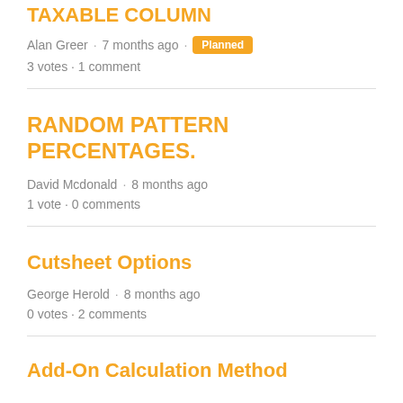TAXABLE COLUMN
Alan Greer · 7 months ago · Planned
3 votes · 1 comment
RANDOM PATTERN PERCENTAGES.
David Mcdonald · 8 months ago
1 vote · 0 comments
Cutsheet Options
George Herold · 8 months ago
0 votes · 2 comments
Add-On Calculation Method